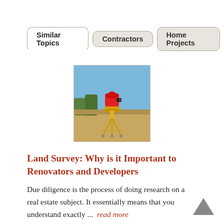Similar Topics | Contractors | Home Projects
[Figure (photo): A surveying total station instrument on a tripod at a construction site with blue sky and dirt ground in background]
Land Survey: Why is it Important to Renovators and Developers
Due diligence is the process of doing research on a real estate subject. It essentially means that you understand exactly ...  read more